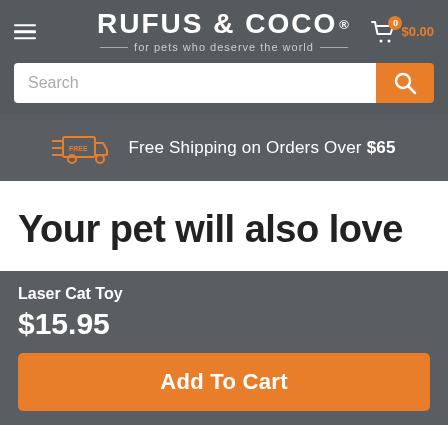RUFUS & COCO® — for pets who deserve the world — $0.00
Search
Free Shipping on Orders Over $65
Your pet will also love
Laser Cat Toy
$15.95
Add To Cart